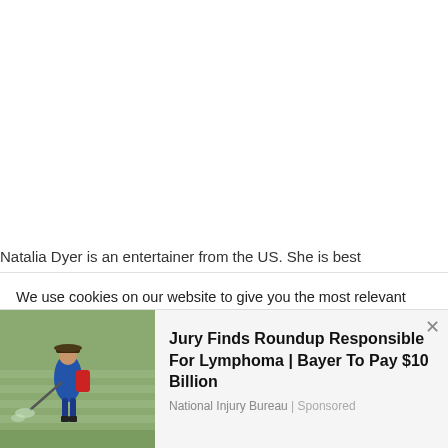Natalia Dyer is an entertainer from the US. She is best
We use cookies on our website to give you the most relevant experience by remembering your preferences and repeat visits. By clicking "Accept All", you consent to the use of ALL the cookies. However, you may visit "Cookie Settings" to provide a controlled
[Figure (photo): Person wearing a blue jacket and hat spraying pesticide/herbicide in a green agricultural field, carrying a red backpack sprayer]
Jury Finds Roundup Responsible For Lymphoma | Bayer To Pay $10 Billion
National Injury Bureau | Sponsored